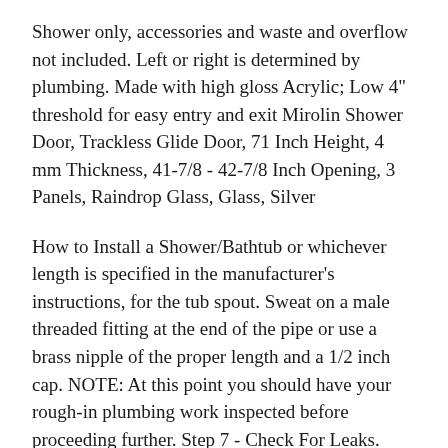Shower only, accessories and waste and overflow not included. Left or right is determined by plumbing. Made with high gloss Acrylic; Low 4" threshold for easy entry and exit Mirolin Shower Door, Trackless Glide Door, 71 Inch Height, 4 mm Thickness, 41-7/8 - 42-7/8 Inch Opening, 3 Panels, Raindrop Glass, Glass, Silver
How to Install a Shower/Bathtub or whichever length is specified in the manufacturer's instructions, for the tub spout. Sweat on a male threaded fitting at the end of the pipe or use a brass nipple of the proper length and a 1/2 inch cap. NOTE: At this point you should have your rough-in plumbing work inspected before proceeding further. Step 7 - Check For Leaks.